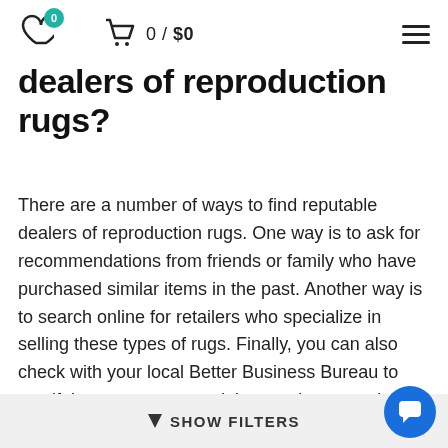♡ 0  🛒 0/$0  ☰
dealers of reproduction rugs?
There are a number of ways to find reputable dealers of reproduction rugs. One way is to ask for recommendations from friends or family who have purchased similar items in the past. Another way is to search online for retailers who specialize in selling these types of rugs. Finally, you can also check with your local Better Business Bureau to see if there are any complaints against a particular dealer before making a purchase.
▼ SHOW FILTERS